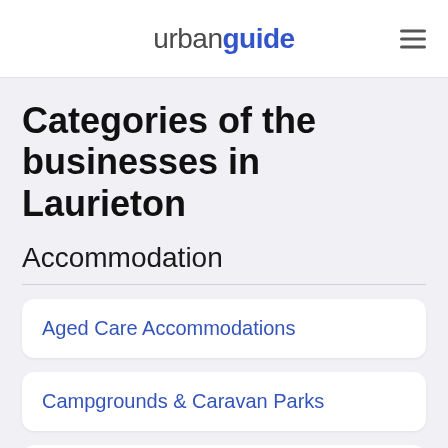urbanguide
Categories of the businesses in Laurieton
Accommodation
Aged Care Accommodations
Campgrounds & Caravan Parks
Hostels